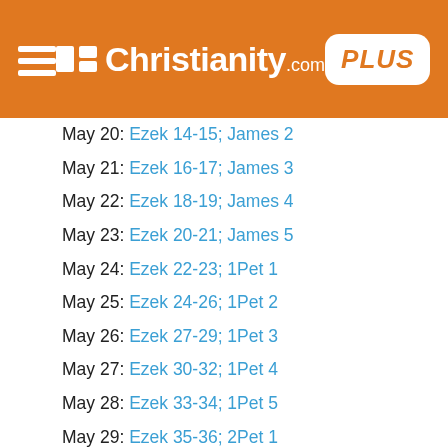Christianity.com PLUS
May 20: Ezek 14-15; James 2
May 21: Ezek 16-17; James 3
May 22: Ezek 18-19; James 4
May 23: Ezek 20-21; James 5
May 24: Ezek 22-23; 1Pet 1
May 25: Ezek 24-26; 1Pet 2
May 26: Ezek 27-29; 1Pet 3
May 27: Ezek 30-32; 1Pet 4
May 28: Ezek 33-34; 1Pet 5
May 29: Ezek 35-36; 2Pet 1
May 30: Ezek 37-39; 2Pet 2
May 31: Ezek 40-41; 2Pet 3
Jun 1: Ezek 42-44; 1John 1